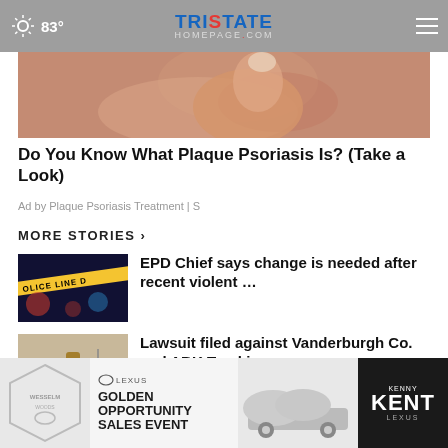83° TRISTATEHOMEPAGE.com
[Figure (photo): Close-up photo of skin affected by plaque psoriasis]
Do You Know What Plaque Psoriasis Is? (Take a Look)
Ad by Plaque Psoriasis Treatment | S
MORE STORIES ›
[Figure (photo): Police line tape with blurred lights in background]
EPD Chief says change is needed after recent violent ...
[Figure (photo): Gavel and scales of justice on a desk]
Lawsuit filed against Vanderburgh Co. and ABK Tracking
[Figure (photo): Lexus Golden Opportunity Sales Event advertisement banner with Kenny Kent Lexus]